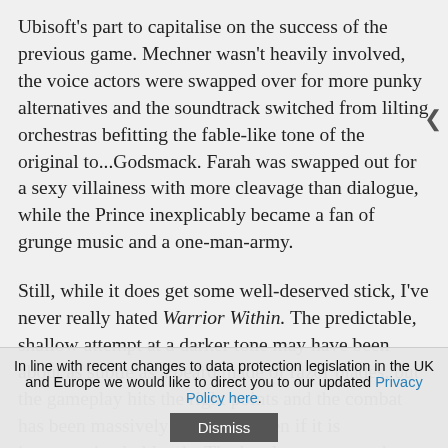Ubisoft's part to capitalise on the success of the previous game. Mechner wasn't heavily involved, the voice actors were swapped over for more punky alternatives and the soundtrack switched from lilting orchestras befitting the fable-like tone of the original to...Godsmack. Farah was swapped out for a sexy villainess with more cleavage than dialogue, while the Prince inexplicably became a fan of grunge music and a one-man-army.
Still, while it does get some well-deserved stick, I've never really hated Warrior Within. The predictable, shallow attempt at a darker tone may have been about as subtle as a beard made of razor blades, but the gameplay hits the right points and the combat has been massively improved even if it is inappropriately bloody. The levels too are much more challenging than ever before, moving
In line with recent changes to data protection legislation in the UK and Europe we would like to direct you to our updated Privacy Policy here.
Dismiss